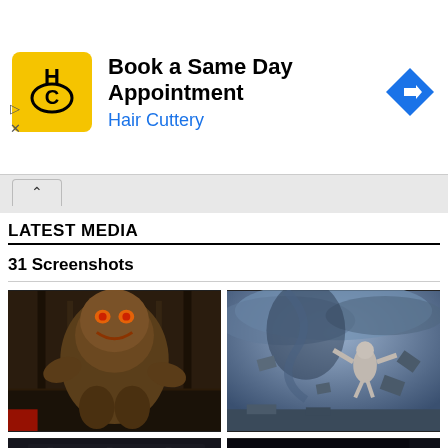[Figure (infographic): Advertisement banner for Hair Cuttery: logo with HC initials on yellow background, text 'Book a Same Day Appointment', 'Hair Cuttery' in blue, blue diamond navigation arrow icon on right.]
LATEST MEDIA
31 Screenshots
[Figure (screenshot): Video game screenshot showing a large monster/demon character in a dark ornate corridor (appears to be Doom 3).]
[Figure (screenshot): Video game screenshot showing a figure flying/falling in a stormy blue-grey sky with debris (appears to be dark fantasy game).]
[Figure (screenshot): Video game screenshot showing a bright flamethrower or energy weapon firing in a dark industrial corridor.]
[Figure (screenshot): Video game screenshot showing glowing chain/weapon with hexagonal grid floor in dark sci-fi setting.]